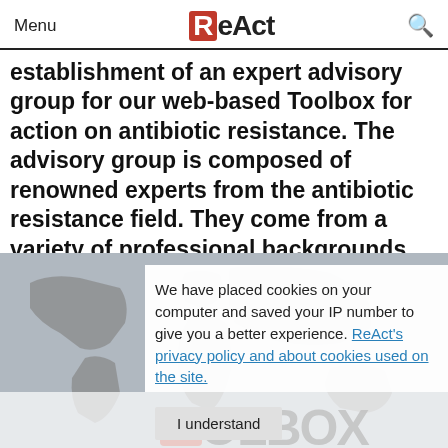Menu | ReAct | [search]
establishment of an expert advisory group for our web-based Toolbox for action on antibiotic resistance. The advisory group is composed of renowned experts from the antibiotic resistance field. They come from a variety of professional backgrounds and geographic locations, to reflect the diverse settings and work that ReAct is carrying out.
[Figure (map): World map shown in grey as background image behind cookie notice and TOOLBOX text]
We have placed cookies on your computer and saved your IP number to give you a better experience. ReAct's privacy and about cookies used on the site.
I understand